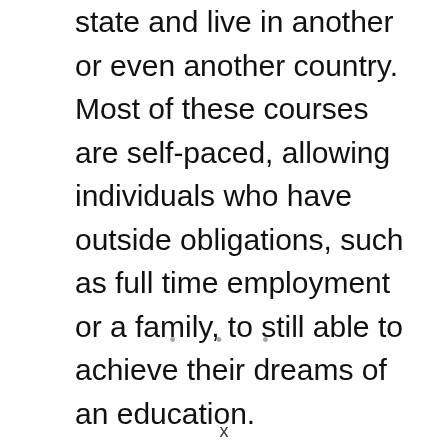state and live in another or even another country. Most of these courses are self-paced, allowing individuals who have outside obligations, such as full time employment or a family, to still able to achieve their dreams of an education.
· · ·
x